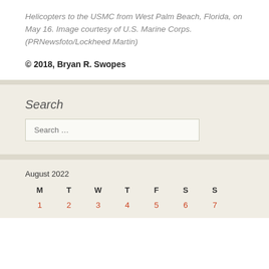Helicopters to the USMC from West Palm Beach, Florida, on May 16. Image courtesy of U.S. Marine Corps. (PRNewsfoto/Lockheed Martin)
© 2018, Bryan R. Swopes
Search
Search …
August 2022
| M | T | W | T | F | S | S |
| --- | --- | --- | --- | --- | --- | --- |
| 1 | 2 | 3 | 4 | 5 | 6 | 7 |